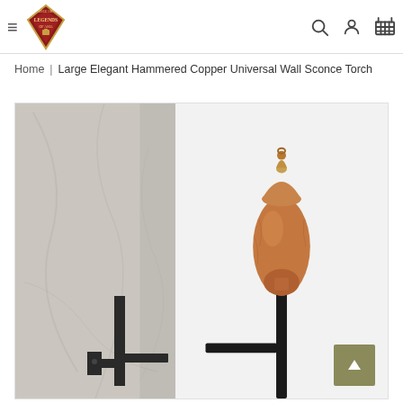Legends of Asia - Large Elegant Hammered Copper Universal Wall Sconce Torch
Home | Large Elegant Hammered Copper Universal Wall Sconce Torch
[Figure (photo): Product photo of a large elegant hammered copper universal wall sconce torch. The left portion shows a white marble-textured wall panel. The right portion shows the torch assembly: a copper-colored urn-shaped fuel canister with a decorative pointed cap/snuffer on top, mounted on a black iron L-bracket wall sconce.]